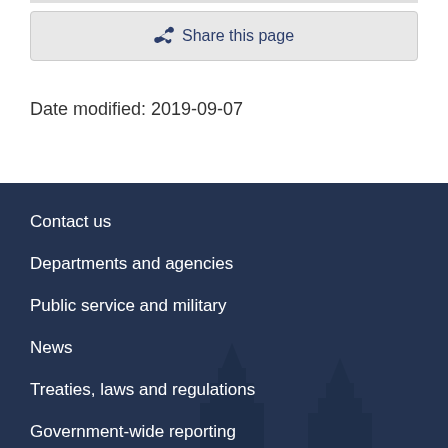Share this page
Date modified: 2019-09-07
Contact us
Departments and agencies
Public service and military
News
Treaties, laws and regulations
Government-wide reporting
Prime Minister
About government